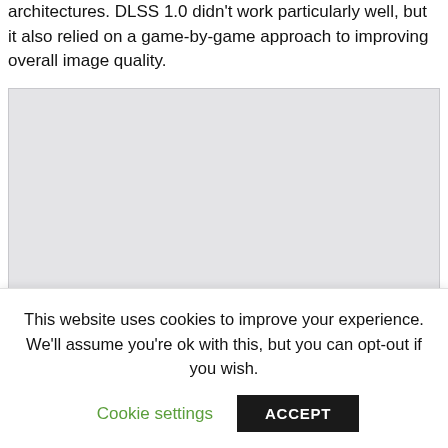architectures. DLSS 1.0 didn't work particularly well, but it also relied on a game-by-game approach to improving overall image quality.
[Figure (other): A light gray placeholder rectangle representing an embedded image on the article page.]
DLSS 2.0 adopted a more generic architecture and
This website uses cookies to improve your experience. We'll assume you're ok with this, but you can opt-out if you wish.